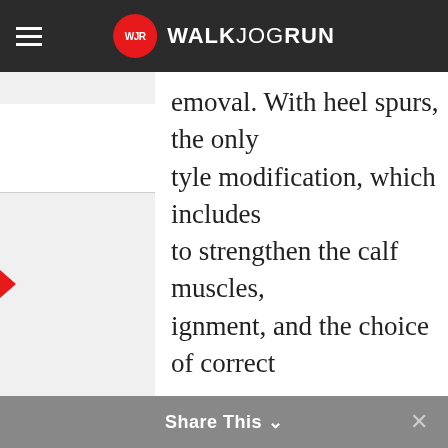WALKJOGRUN
emoval. With heel spurs, the only tyle modification, which includes to strengthen the calf muscles, ignment, and the choice of correct urs.
ks | Criteria Used for Our Favorites | Sources
[Figure (other): Advertisement placeholder box]
Share This ∨  ×